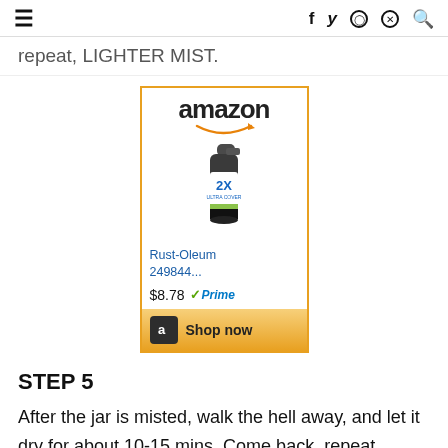≡   f  y  ⊙  ⊕  🔍
repeat, LIGHTER MIST.
[Figure (screenshot): Amazon advertisement for Rust-Oleum 249844... spray paint, priced at $8.78 with Prime, showing a spray can image and a 'Shop now' button.]
STEP 5
After the jar is misted, walk the hell away, and let it dry for about 10-15 mins. Come back, repeat